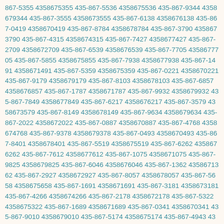867-5355 4358675355 435-867-5536 4358675536 435-867-9344 4358679344 435-867-3555 4358673555 435-867-6138 4358676138 435-867-0419 4358670419 435-867-8784 4358678784 435-867-3790 4358673790 435-867-4315 4358674315 435-867-7427 4358677427 435-867-2709 4358672709 435-867-6539 4358676539 435-867-7705 4358677705 435-867-5855 4358675855 435-867-7938 4358677938 435-867-1491 4358671491 435-867-5359 4358675359 435-867-0221 4358670221 435-867-9179 4358679179 435-867-8103 4358678103 435-867-6857 4358676857 435-867-1787 4358671787 435-867-9932 4358679932 435-867-7849 4358677849 435-867-6217 4358676217 435-867-3579 4358673579 435-867-8149 4358678149 435-867-9634 4358679634 435-867-2022 4358672022 435-867-0887 4358670887 435-867-4768 4358674768 435-867-9378 4358679378 435-867-0493 4358670493 435-867-8401 4358678401 435-867-5519 4358675519 435-867-6262 4358676262 435-867-7612 4358677612 435-867-1075 4358671075 435-867-9825 4358679825 435-867-6046 4358676046 435-867-1362 4358671362 435-867-2927 4358672927 435-867-8057 4358678057 435-867-5658 4358675658 435-867-1691 4358671691 435-867-3181 4358673181 435-867-4266 4358674266 435-867-2178 4358672178 435-867-5322 4358675322 435-867-1689 4358671689 435-867-0341 4358670341 435-867-9010 4358679010 435-867-5174 4358675174 435-867-4943 4358674943 435-867-8335 4358678335 435-867-4028 4358674028 435-867-2997 4358672997 435-867-9757 4358679757 435-867-7922 4358677922 435-867-0788 4358670788 435-867-5545 4358675545 435-867-1876 4358671876 435-867-6866 4358676866 435-867-7060 4358677060 435-867-4461 4358674461 435-867-9247 4358679247 435-867-8295 4358678295 435-867-9958